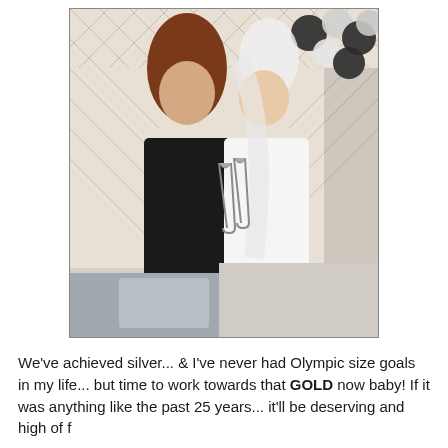[Figure (photo): A vintage photograph of two women at what appears to be a wedding celebration. One woman is wearing a dark jacket and has long auburn hair; the other is wearing a white bridal gown and veil. They are clinking champagne glasses and smiling. The background has a lattice pattern and black and white balloons.]
We've achieved silver... & I've never had Olympic size goals in my life... but time to work towards that GOLD now baby!  If it was anything like the past 25 years... it'll be deserving and high of f...